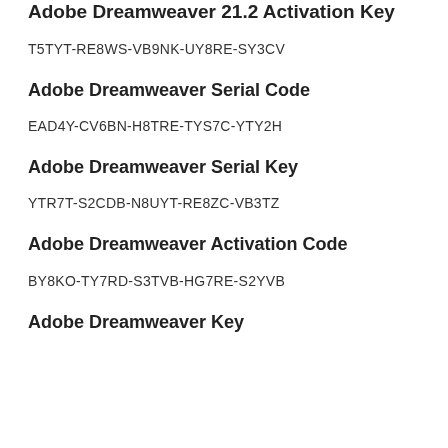Adobe Dreamweaver 21.2 Activation Key
T5TYT-RE8WS-VB9NK-UY8RE-SY3CV
Adobe Dreamweaver Serial Code
EAD4Y-CV6BN-H8TRE-TYS7C-YTY2H
Adobe Dreamweaver Serial Key
YTR7T-S2CDB-N8UYT-RE8ZC-VB3TZ
Adobe Dreamweaver Activation Code
BY8KO-TY7RD-S3TVB-HG7RE-S2YVB
Adobe Dreamweaver Key